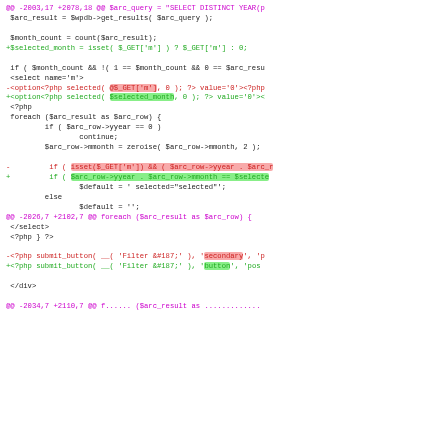[Figure (screenshot): A git diff / code diff view showing PHP code changes. Lines prefixed with @@ are hunk headers in magenta. Lines prefixed with - are removals in red (with red highlights on changed tokens). Lines prefixed with + are additions in green (with green highlights on changed tokens). Context lines are in dark/black. The diff shows changes to WordPress archive query code replacing @$_GET['m'] references with $selected_month variable, and changing submit_button parameters from 'secondary' to 'button'.]